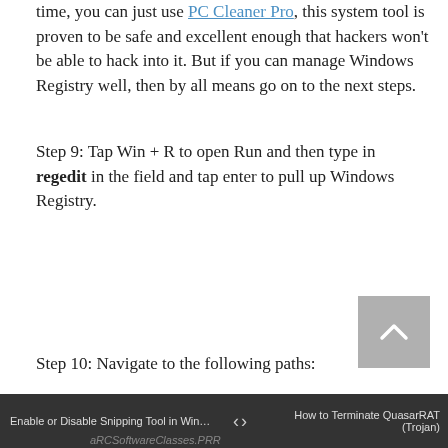time, you can just use PC Cleaner Pro, this system tool is proven to be safe and excellent enough that hackers won't be able to hack into it. But if you can manage Windows Registry well, then by all means go on to the next steps.
Step 9: Tap Win + R to open Run and then type in regedit in the field and tap enter to pull up Windows Registry.
Step 10: Navigate to the following paths:
Enable or Disable Snipping Tool in Win… | How to Terminate QuasarRAT (Trojan)